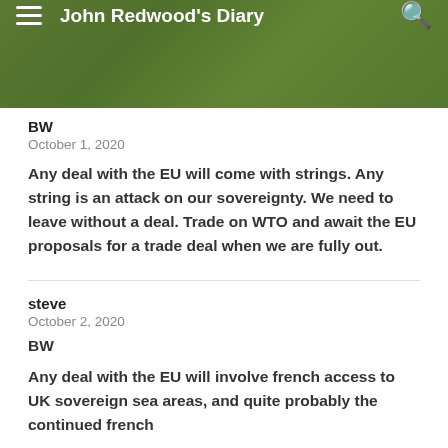John Redwood's Diary
BW
October 1, 2020
Any deal with the EU will come with strings. Any string is an attack on our sovereignty. We need to leave without a deal. Trade on WTO and await the EU proposals for a trade deal when we are fully out.
steve
October 2, 2020
BW
Any deal with the EU will involve french access to UK sovereign sea areas, and quite probably the continued french